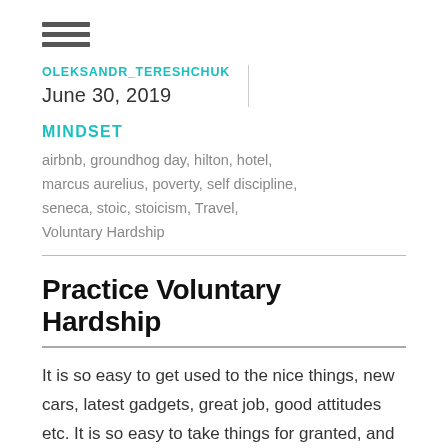[Figure (other): Hamburger menu icon (three horizontal bars)]
OLEKSANDR_TERESHCHUK
June 30, 2019
MINDSET
airbnb, groundhog day, hilton, hotel, marcus aurelius, poverty, self discipline, seneca, stoic, stoicism, Travel, Voluntary Hardship
Practice Voluntary Hardship
It is so easy to get used to the nice things, new cars, latest gadgets, great job, good attitudes etc. It is so easy to take things for granted, and start thinking